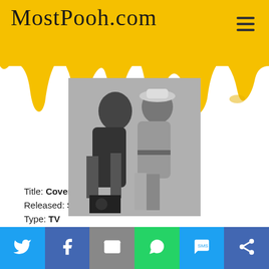MostPooh.com
[Figure (photo): Black and white photo of two people, appears to be a TV show promotional image for 'Cover Up']
Title: Cover Up
Released: September 22, 1984
Type: TV
Twitter | Facebook | Email | WhatsApp | SMS | Share social media bar